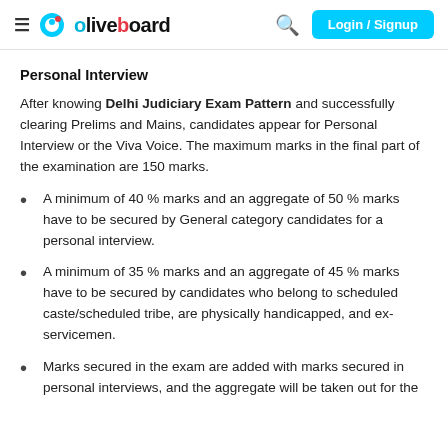oliveboard — Login / Signup
Personal Interview
After knowing Delhi Judiciary Exam Pattern and successfully clearing Prelims and Mains, candidates appear for Personal Interview or the Viva Voice. The maximum marks in the final part of the examination are 150 marks.
A minimum of 40 % marks and an aggregate of 50 % marks have to be secured by General category candidates for a personal interview.
A minimum of 35 % marks and an aggregate of 45 % marks have to be secured by candidates who belong to scheduled caste/scheduled tribe, are physically handicapped, and ex-servicemen.
Marks secured in the exam are added with marks secured in personal interviews, and the aggregate will be taken out for the